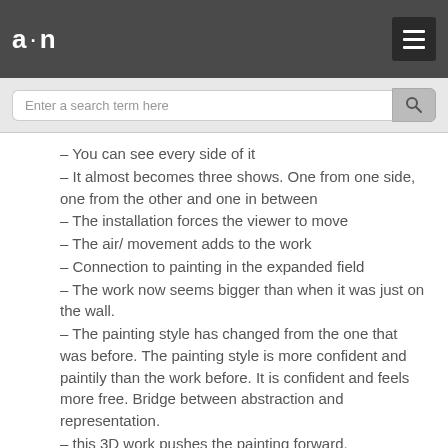a·n
– You can see every side of it
– It almost becomes three shows. One from one side, one from the other and one in between
– The installation forces the viewer to move
– The air/ movement adds to the work
– Connection to painting in the expanded field
– The work now seems bigger than when it was just on the wall.
– The painting style has changed from the one that was before. The painting style is more confident and paintily than the work before. It is confident and feels more free. Bridge between abstraction and representation.
– this 3D work pushes the painting forward.
– Walking in the installation gives the work a different vibe
– The sides of the paintings now work more than when the paintings were on the wall. This gives the breathing space like when you usually  look at the back of the paintings.
Here, there is no back, so the sides becomes it...